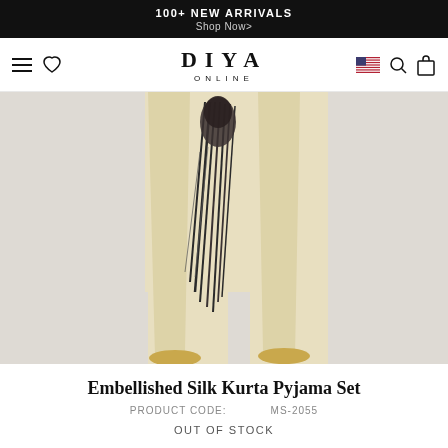100+ NEW ARRIVALS
Shop Now>
DIYA ONLINE
[Figure (photo): Bottom half of a model wearing a cream/gold embellished silk kurta pyjama set with gold embellished shoes, dark beaded tassel hanging from the kurta, against a light grey background]
Embellished Silk Kurta Pyjama Set
PRODUCT CODE:   MS-2055
OUT OF STOCK
See Similar   Add To Wish List